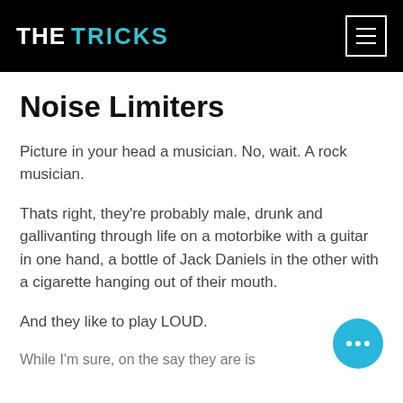THE TRICKS
Noise Limiters
Picture in your head a musician. No, wait. A rock musician.
Thats right, they're probably male, drunk and gallivanting through life on a motorbike with a guitar in one hand, a bottle of Jack Daniels in the other with a cigarette hanging out of their mouth.
And they like to play LOUD.
While I'm sure, on the say they are is